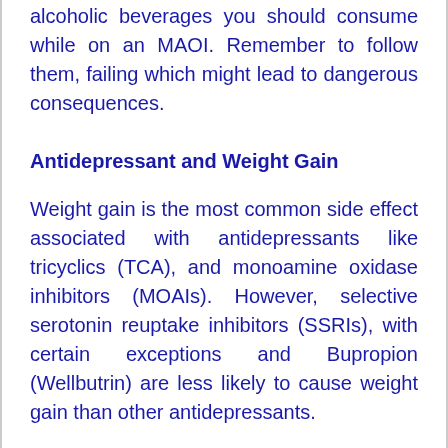alcoholic beverages you should consume while on an MAOI. Remember to follow them, failing which might lead to dangerous consequences.
Antidepressant and Weight Gain
Weight gain is the most common side effect associated with antidepressants like tricyclics (TCA), and monoamine oxidase inhibitors (MOAIs). However, selective serotonin reuptake inhibitors (SSRIs), with certain exceptions and Bupropion (Wellbutrin) are less likely to cause weight gain than other antidepressants.